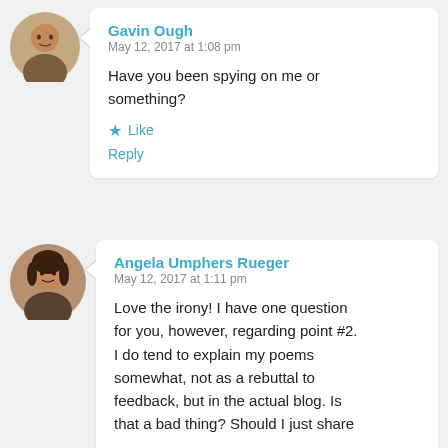[Figure (photo): Circular avatar photo of Gavin Ough, male, middle-aged]
Gavin Ough
May 12, 2017 at 1:08 pm
Have you been spying on me or something?
★ Like
Reply
[Figure (photo): Circular avatar photo of Angela Umphers Rueger, female]
Angela Umphers Rueger
May 12, 2017 at 1:11 pm
Love the irony! I have one question for you, however, regarding point #2. I do tend to explain my poems somewhat, not as a rebuttal to feedback, but in the actual blog. Is that a bad thing? Should I just share